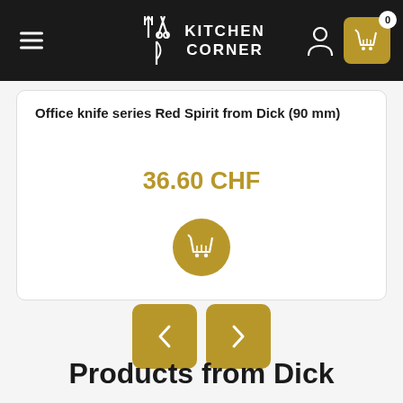Kitchen Corner
Office knife series Red Spirit from Dick (90 mm)
36.60 CHF
[Figure (screenshot): Add to cart button (shopping basket icon, gold circular button)]
[Figure (screenshot): Previous and next navigation arrow buttons (gold rounded square buttons)]
Products from Dick